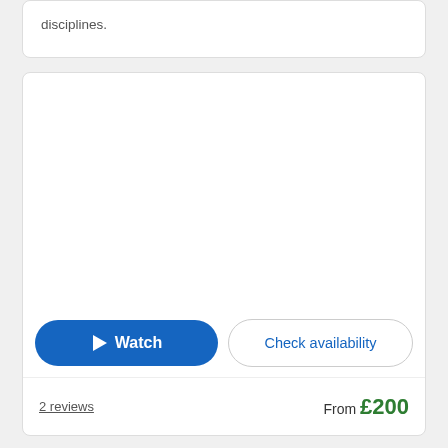disciplines.
[Figure (screenshot): A course or product card with a heart/favorite icon in the top-right corner, a large blank white content/image area, a blue 'Watch' button with a play triangle, a 'Check availability' button, a '2 reviews' link, and a 'From £200' price label.]
2 reviews
From £200